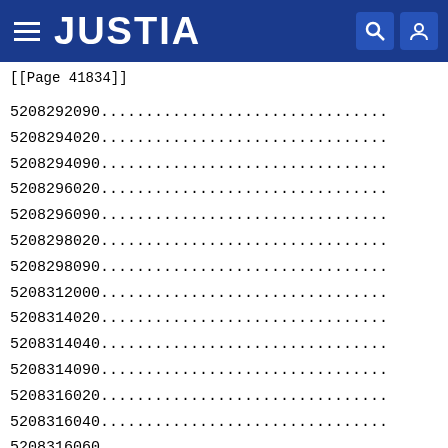JUSTIA
[[Page 41834]]
5208292090................................
5208294020................................
5208294090................................
5208296020................................
5208296090................................
5208298020................................
5208298090................................
5208312000................................
5208314020................................
5208314040................................
5208314090................................
5208316020................................
5208316040................................
5208316060................................